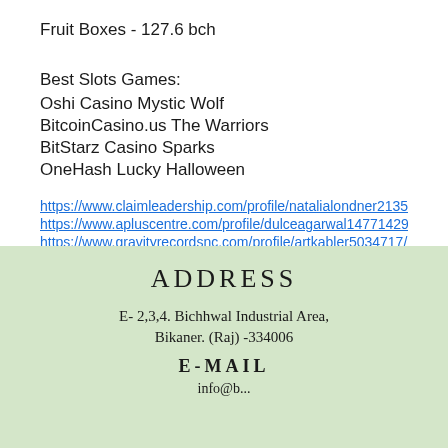Fruit Boxes - 127.6 bch
Best Slots Games:
Oshi Casino Mystic Wolf
BitcoinCasino.us The Warriors
BitStarz Casino Sparks
OneHash Lucky Halloween
https://www.claimleadership.com/profile/natalialondner2135963/pr
https://www.apluscentre.com/profile/dulceagarwal14771429/profile
https://www.gravityrecordsnc.com/profile/artkabler5034717/profile
https://www.wasipunkotours.com/profile/suzannesemo14366755/p
ADDRESS
E- 2,3,4. Bichhwal Industrial Area,
Bikaner. (Raj) -334006
E-MAIL
info@b...